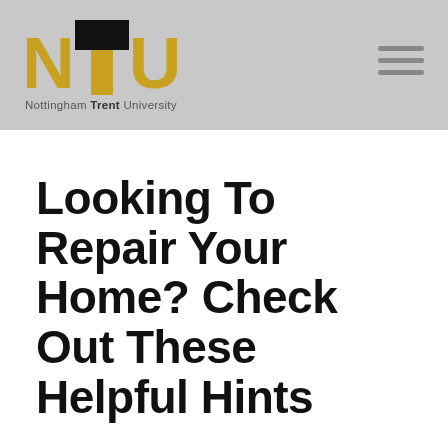Nottingham Trent University
Looking To Repair Your Home? Check Out These Helpful Hints
No matter how long you have been in your home, the idea of